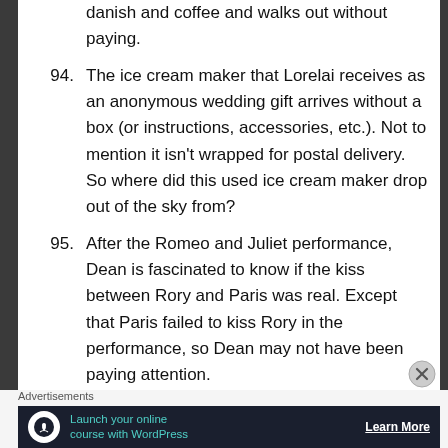danish and coffee and walks out without paying.
94. The ice cream maker that Lorelai receives as an anonymous wedding gift arrives without a box (or instructions, accessories, etc.). Not to mention it isn't wrapped for postal delivery. So where did this used ice cream maker drop out of the sky from?
95. After the Romeo and Juliet performance, Dean is fascinated to know if the kiss between Rory and Paris was real. Except that Paris failed to kiss Rory in the performance, so Dean may not have been paying attention.
Advertisements
[Figure (infographic): Advertisement banner: dark navy background with tree/person icon in white circle, teal text 'Launch your online course with WordPress', white 'Learn More' button with underline]